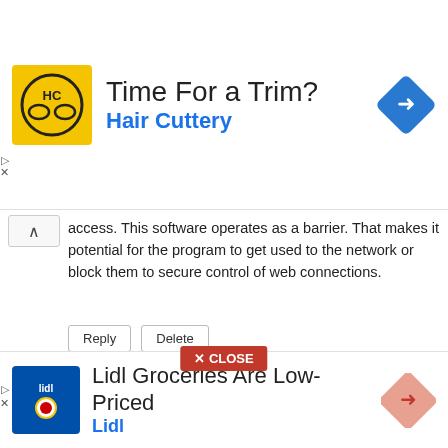[Figure (infographic): Advertisement banner for Hair Cuttery with yellow logo, title 'Time For a Trim?', subtitle 'Hair Cuttery', and blue navigation diamond icon.]
access. This software operates as a barrier. That makes it potential for the program to get used to the network or block them to secure control of web connections.
Reply   Delete
UNKNOWN
December 9, 2021 at 4:22 AM
https://keyfreecracked.com/allavsoft-2021-key/
Allavsoft Crack is a much powerful downloader that use to support and get a lot of moves there. In addition, you can get the Dailymotion and use it to share more than a lot of
[Figure (infographic): Advertisement banner for Lidl Groceries with blue Lidl logo, title 'Lidl Groceries Are Low-Priced', subtitle 'Lidl', and pink navigation diamond icon.]